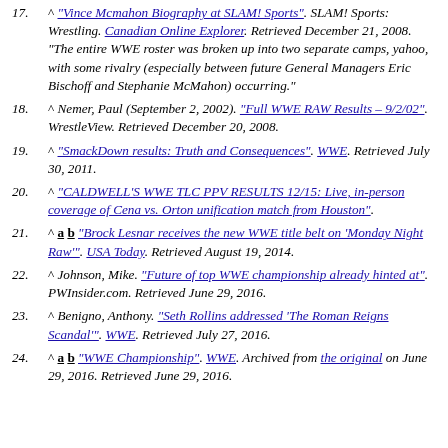17. ^ "Vince Mcmahon Biography at SLAM! Sports". SLAM! Sports: Wrestling. Canadian Online Explorer. Retrieved December 21, 2008. "The entire WWE roster was broken up into two separate camps, yahoo, with some rivalry (especially between future General Managers Eric Bischoff and Stephanie McMahon) occurring."
18. ^ Nemer, Paul (September 2, 2002). "Full WWE RAW Results – 9/2/02". WrestleView. Retrieved December 20, 2008.
19. ^ "SmackDown results: Truth and Consequences". WWE. Retrieved July 30, 2011.
20. ^ "CALDWELL'S WWE TLC PPV RESULTS 12/15: Live, in-person coverage of Cena vs. Orton unification match from Houston".
21. ^ a b "Brock Lesnar receives the new WWE title belt on 'Monday Night Raw'". USA Today. Retrieved August 19, 2014.
22. ^ Johnson, Mike. "Future of top WWE championship already hinted at". PWInsider.com. Retrieved June 29, 2016.
23. ^ Benigno, Anthony. "Seth Rollins addressed 'The Roman Reigns Scandal'". WWE. Retrieved July 27, 2016.
24. ^ a b "WWE Championship". WWE. Archived from the original on June 29, 2016. Retrieved June 29, 2016.